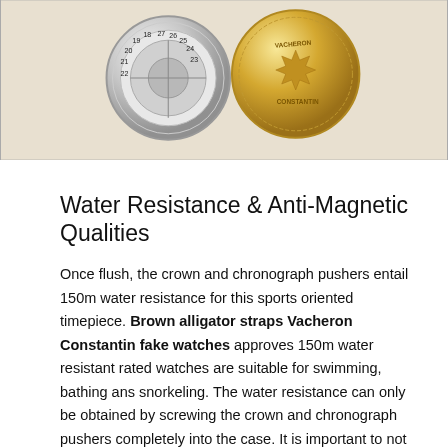[Figure (photo): Two watch movements/casebacks side by side: a silver-toned movement with numbered dial ring (numbers 18-27 visible) on the left, and a gold-toned caseback engraved with 'Vacheron Constantin' on the right, shown against a light beige background.]
Water Resistance & Anti-Magnetic Qualities
Once flush, the crown and chronograph pushers entail 150m water resistance for this sports oriented timepiece. Brown alligator straps Vacheron Constantin fake watches approves 150m water resistant rated watches are suitable for swimming, bathing ans snorkeling. The water resistance can only be obtained by screwing the crown and chronograph pushers completely into the case. It is important to not unscrew the crown or pushers or use their functions if water is present on them or if the watch is submerged